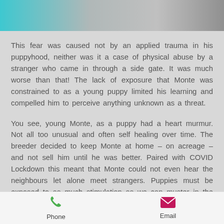[Figure (photo): Blurred photo of a dog, teal and grey tones, cropped at top of screen]
This fear was caused not by an applied trauma in his puppyhood, neither was it a case of physical abuse by a stranger who came in through a side gate. It was much worse than that! The lack of exposure that Monte was constrained to as a young puppy limited his learning and compelled him to perceive anything unknown as a threat.
You see, young Monte, as a puppy had a heart murmur. Not all too unusual and often self healing over time. The breeder decided to keep Monte at home – on acreage – and not sell him until he was better. Paired with COVID Lockdown this meant that Monte could not even hear the neighbours let alone meet strangers. Puppies must be exposed to as much stimulation as we can muster in the first
Phone   Email